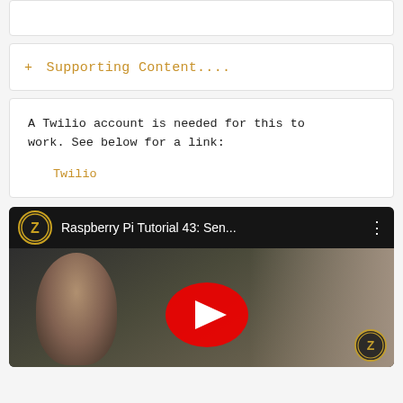+ Supporting Content....
A Twilio account is needed for this to work. See below for a link:

Twilio
[Figure (screenshot): YouTube video thumbnail showing 'Raspberry Pi Tutorial 43: Sen...' with a channel logo (Z letter in gold circle), a man looking at camera, and a YouTube play button overlay.]